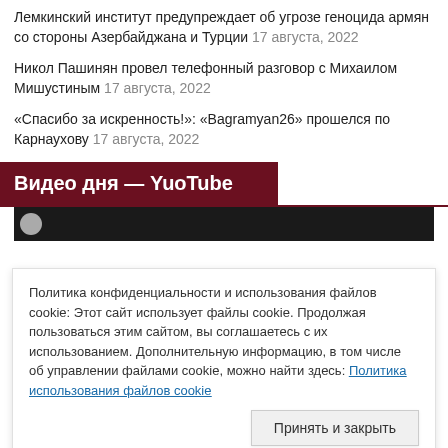Лемкинский институт предупреждает об угрозе геноцида армян со стороны Азербайджана и Турции 17 августа, 2022
Никол Пашинян провел телефонный разговор с Михаилом Мишустиным 17 августа, 2022
«Спасибо за искренность!»: «Bagramyan26» прошелся по Карнаухову 17 августа, 2022
Видео дня — YuoTube
[Figure (screenshot): Dark video thumbnail strip with partial circle avatar visible]
Политика конфиденциальности и использования файлов cookie: Этот сайт использует файлы cookie. Продолжая пользоваться этим сайтом, вы соглашаетесь с их использованием. Дополнительную информацию, в том числе об управлении файлами cookie, можно найти здесь: Политика использования файлов cookie
Принять и закрыть
[Figure (photo): Bottom image strip with people and colorful background]